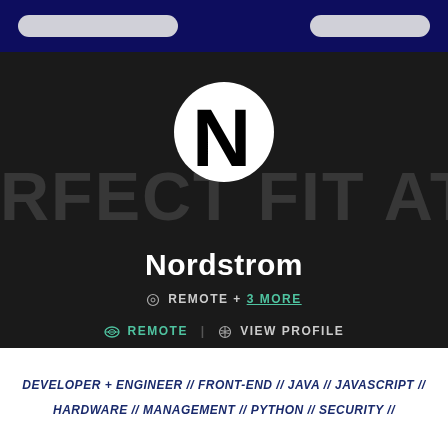Navigation bar with two pill buttons
[Figure (logo): Nordstrom logo: white circle with bold black N letter]
RFECT FIT AT NO
Nordstrom
REMOTE + 3 MORE
REMOTE | VIEW PROFILE
DEVELOPER + ENGINEER // FRONT-END // JAVA // JAVASCRIPT //
HARDWARE // MANAGEMENT // PYTHON // SECURITY //